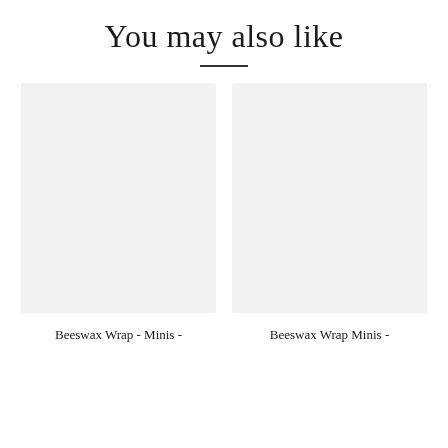You may also like
[Figure (photo): Left product image placeholder - light gray background rectangle]
[Figure (photo): Right product image placeholder - light gray background rectangle]
Beeswax Wrap - Minis -
Beeswax Wrap Minis -